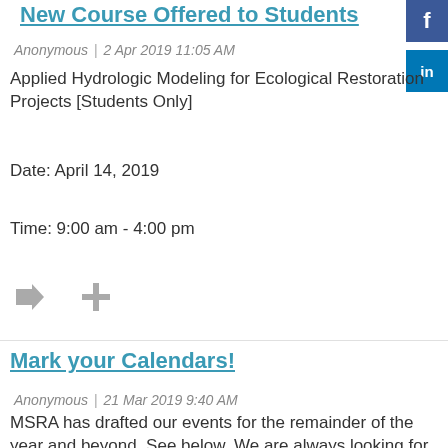New Course Offered to Students
Anonymous | 2 Apr 2019 11:05 AM
Applied Hydrologic Modeling for Ecological Restoration Projects [Students Only]
Date: April 14, 2019
Time: 9:00 am - 4:00 pm
Mark your Calendars!
Anonymous | 21 Mar 2019 9:40 AM
MSRA has drafted our events for the remainder of the year and beyond.  See below. We are always looking for companies to host field trips and give presentations.